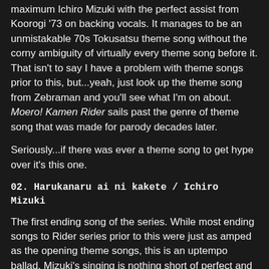maximum Ichiro Mizuki with the perfect assist from Koorogi '73 on backing vocals. It manages to be an unmistakable 70s Tokusatsu theme song without the corny ambiguity of virtually every theme song before it. That isn't to say I have a problem with theme songs prior to this, but...yeah, just look up the theme song from Zebraman and you'll see what I'm on about. Moero! Kamen Rider sails past the genre of theme song that was made for parody decades later.
Seriously...if there was ever a theme song to get hype over it's this one.
02. Harukanaru ai ni kakete / Ichiro Mizuki
The first ending song of the series. While most ending songs to Rider series prior to this were just as amped as the opening theme songs, this is an uptempo ballad. Mizuki's singing is nothing short of perfect and the assist from Koorogi '73 is just as necessary as it was on Moero! Kamen Rider.
03. Kagayake! 8pin Rider / Isao Sasaki